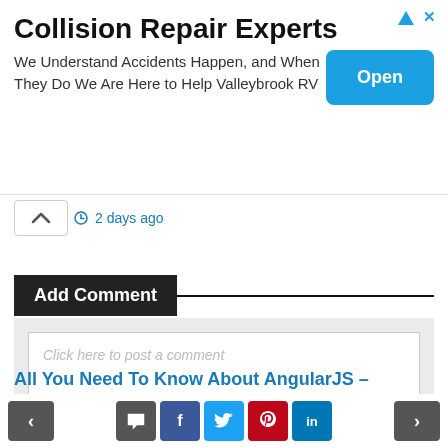[Figure (screenshot): Advertisement banner for Collision Repair Experts with an Open button]
2 days ago
Add Comment
Click here to post a comment
All You Need To Know About AngularJS –